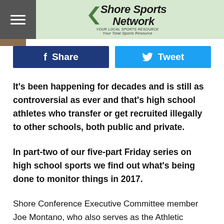Shore Sports Network
Share
Tweet
It's been happening for decades and is still as controversial as ever and that's high school athletes who transfer or get recruited illegally to other schools, both public and private.
In part-two of our five-part Friday series on high school sports we find out what's being done to monitor things in 2017.
Shore Conference Executive Committee member Joe Montano, who also serves as the Athletic Director and Girls Basketball Coach at Red Bank Catholic High School, says